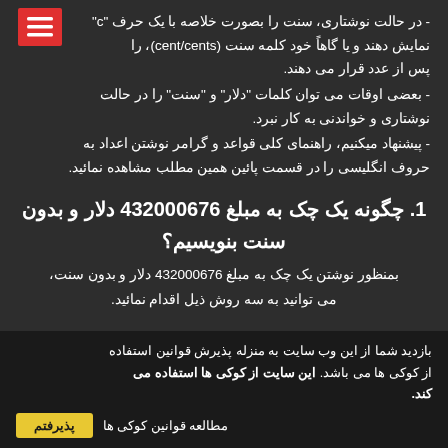- در حالت نوشتاری، سنت را بصورت خلاصه با یک حرف "c" نمایش دهند و یا گاهاً خود کلمه سنت (cent/cents)، را پس از عدد قرار می دهند.
- بعضی اوقات می توان کلمات "دلار" و "سنت" را در حالت نوشتاری و خواندنی به کار نبرد.
- پیشنهاد میکنیم، راهنمای کلی قواعد و گرامر نوشتن اعداد به حروف انگلیسی را در قسمت پائین همین مطلب مشاهده نمائید.
1. چگونه یک چک به مبلغ 432000676 دلار و بدون سنت بنویسیم؟
بمنظور نوشتن یک چک به مبلغ 432000676 دلار و بدون سنت، می توانید به سه روش ذیل اقدام نمائید.
بازدید شما از این وب سایت به منزله پذیرش قوانین استفاده از کوکی ها می باشد. این سایت از کوکی ها استفاده می کند.
مطالعه قوانین کوکی ها
پذیرفتم